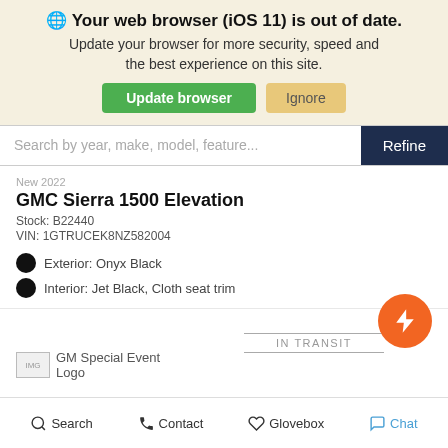🌐 Your web browser (iOS 11) is out of date. Update your browser for more security, speed and the best experience on this site. [Update browser] [Ignore]
Search by year, make, model, feature...  Refine
GMC Sierra 1500 Elevation
Stock: B22440
VIN: 1GTRUCEK8NZ582004
Exterior: Onyx Black
Interior: Jet Black, Cloth seat trim
[Figure (logo): GM Special Event Logo placeholder image]
IN TRANSIT
[Figure (other): Orange lightning bolt circular button]
Search  Contact  Glovebox  Chat